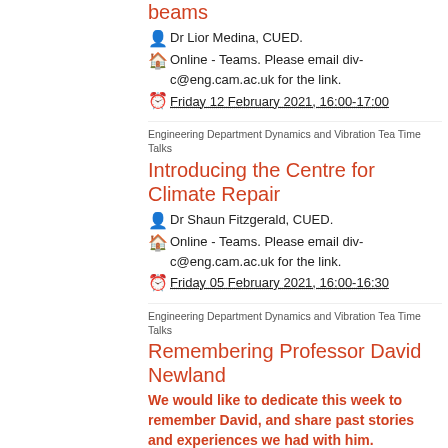beams
Dr Lior Medina, CUED.
Online - Teams. Please email div-c@eng.cam.ac.uk for the link.
Friday 12 February 2021, 16:00-17:00
Engineering Department Dynamics and Vibration Tea Time Talks
Introducing the Centre for Climate Repair
Dr Shaun Fitzgerald, CUED.
Online - Teams. Please email div-c@eng.cam.ac.uk for the link.
Friday 05 February 2021, 16:00-16:30
Engineering Department Dynamics and Vibration Tea Time Talks
Remembering Professor David Newland
We would like to dedicate this week to remember David, and share past stories and experiences we had with him.
Group .
Online - Teams. Please email div-c@eng.cam.ac.uk for the link.
Friday 29 January 2021, 16:00-17:00
Engineering Department Dynamics and Vibration Tea Time Talks